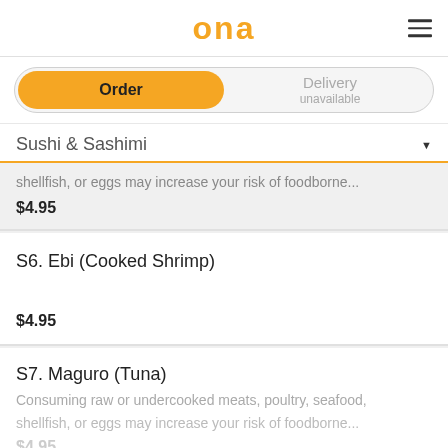ona
Order | Delivery unavailable
Sushi & Sashimi
shellfish, or eggs may increase your risk of foodborne... $4.95
S6. Ebi (Cooked Shrimp)
$4.95
S7. Maguro (Tuna)
Consuming raw or undercooked meats, poultry, seafood, shellfish, or eggs may increase your risk of foodborne...
$4.95